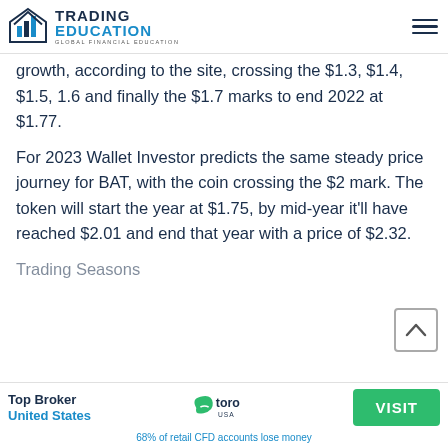TRADING EDUCATION — GLOBAL FINANCIAL EDUCATION
growth, according to the site, crossing the $1.3, $1.4, $1.5, 1.6 and finally the $1.7 marks to end 2022 at $1.77.
For 2023 Wallet Investor predicts the same steady price journey for BAT, with the coin crossing the $2 mark. The token will start the year at $1.75, by mid-year it'll have reached $2.01 and end that year with a price of $2.32.
Trading Seasons...
[Figure (other): Back to top arrow button]
Top Broker United States  |  eToro USA  |  VISIT  |  68% of retail CFD accounts lose money